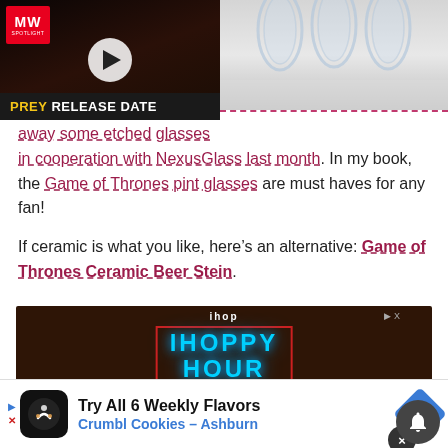[Figure (screenshot): Video thumbnail with play button overlaid, showing dark scene with person's face. MW Spotlight badge in top left. Bottom bar reads PREY RELEASE DATE in yellow/white text on dark background.]
[Figure (photo): Photo of multiple clear etched glasses on a light background]
away some etched glasses in cooperation with NexusGlass last month. In my book, the Game of Thrones pint glasses are must haves for any fan!
If ceramic is what you like, here’s an alternative: Game of Thrones Ceramic Beer Stein.
[Figure (screenshot): IHOP advertisement banner showing IHOPPY HOUR promotion with food images]
[Figure (advertisement): Crumbl Cookies Ashburn ad: Try All 6 Weekly Flavors, Crumbl Cookies - Ashburn]